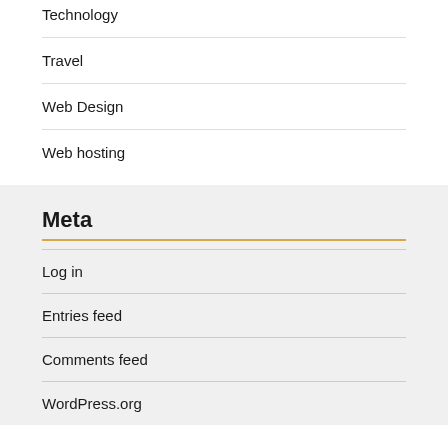Technology
Travel
Web Design
Web hosting
Meta
Log in
Entries feed
Comments feed
WordPress.org